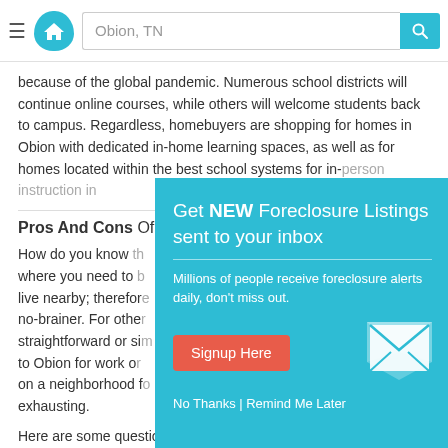Obion, TN [search bar]
because of the global pandemic. Numerous school districts will continue online courses, while others will welcome students back to campus. Regardless, homebuyers are shopping for homes in Obion with dedicated in-home learning spaces, as well as for homes located within the best school systems for in-person instruction in
Pros And Cons Of
How do you know th where you need to b live nearby; therefor no-brainer. For othe straightforward or si to Obion for work on on a neighborhood f exhausting.
Here are some questions to ask yourself when shopping for for a home from a for the in Obion
[Figure (screenshot): Modal overlay on teal/cyan background: 'Get NEW Foreclosure Listings sent to your inbox' with subtitle 'Millions of people receive foreclosure alerts daily, don't miss out.' A red 'Signup Here' button and envelope icon, plus 'No Thanks | Remind Me Later' links.]